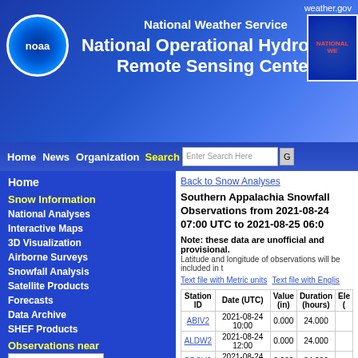weather.gov
National Weather Service
National Operational Hydrologic Remote Sensing Center
Home News Organization Search [Enter Search Here] Go
Home
Snow Information
National Analyses
Interactive Maps
3D Visualization
Airborne Surveys
Snowfall Analysis
Satellite Products
Forecasts
Data Archive
SHEF Products
Observations near
Science/Technology
NOHRSC
GIS Data Sets
Special Purpose Imagery
Back to Snow Analyses
Southern Appalachia Snowfall Observations from 2021-08-24 07:00 UTC to 2021-08-25 06:00
Note: these data are unofficial and provisional.
Latitude and longitude of observations will be included in t
Text file with Metric units    Text file with English
| Station ID | Date (UTC) | Value (in) | Duration (hours) | Ele ( |
| --- | --- | --- | --- | --- |
| ABIV2 | 2021-08-24 10:00 | 0.000 | 24.000 |  |
| ALDW2 | 2021-08-24 12:00 | 0.000 | 24.000 |  |
| BBGV2 | 2021-08-24 11:00 | 0.000 | 24.000 |  |
| BCHN7 | 2021-08-24 11:30 | 0.000 | 24.000 |  |
| BCKW2 | 2021-08-24 11:00 | 0.000 | 24.000 |  |
| BDFV2 | 2021-08-24 11:00 | 0.000 | 24.000 |  |
| BELN7 | 2021-08-24 12:00 | 0.000 | 24.000 |  |
| BGIV2 | 2021-08-24 11:00 | 0.000 | 24.000 |  |
| BLEN2 | 2021-08-24 11:00 | 0.000 | 24.000 |  |